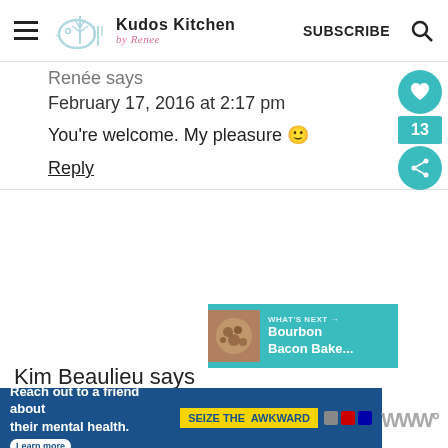Kudos Kitchen by Renee — SUBSCRIBE
Renée says
February 17, 2016 at 2:17 pm
You're welcome. My pleasure 🙂
Reply
Kim Beaulieu says
[Figure (infographic): Next post widget showing Bourbon Bacon Bake... with teal background and food photo]
[Figure (infographic): Ad banner: Reach out to a friend about their mental health. Learn more. SEIZE THE AWKWARD.]